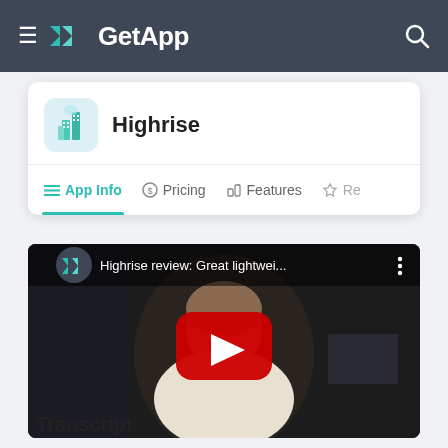GetApp
[Figure (screenshot): Highrise app icon — illustrated building with green and blue tones]
Highrise
App Info  Pricing  Features  Re
[Figure (screenshot): YouTube video thumbnail titled 'Highrise review: Great lightwei...' showing a man in a white t-shirt with a YouTube play button overlay]
Transcript